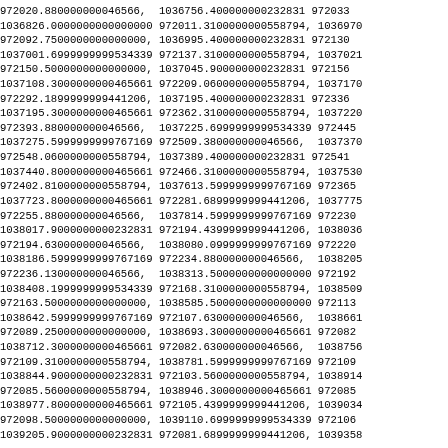972020.880000000046566,  1036756.400000000232831 972033
1036826.0000000000000000 972011.3100000000558794, 1036970
972092.7500000000000000, 1036995.400000000232831 972130
1037001.6999999999534339 972137.3100000000558794, 1037021
972150.5000000000000000, 1037045.900000000232831 972156
1037108.3000000000465661 972209.0600000000558794, 1037170
972292.1899999999441206, 1037195.400000000232831 972336
1037195.3000000000465661 972362.3100000000558794, 1037220
972393.880000000046566,  1037225.6999999999534339 972445
1037275.5999999999767169 972509.380000000046566,  1037370
972548.0600000000558794, 1037389.400000000232831 972541
1037440.8000000000465661 972466.3100000000558794, 1037530
972402.8100000000558794, 1037613.5999999999767169 972365
1037723.8000000000465661 972281.6899999999441206, 1037775
972255.880000000046566,  1037814.5999999999767169 972230
1038017.9000000000232831 972194.4399999999441206, 1038036
972194.630000000046566,  1038080.0999999999767169 972220
1038186.5999999999767169 972234.880000000046566,  1038205
972236.130000000046566,  1038313.5000000000000000 972192
1038408.1999999999534339 972168.3100000000558794, 1038509
972163.5000000000000000, 1038585.5000000000000000 972113
1038642.5999999999767169 972107.630000000046566,  1038661
972089.2500000000000000, 1038693.3000000000465661 972082
1038712.3000000000465661 972082.630000000046566,  1038756
972109.3100000000558794, 1038781.5999999999767169 972109
1038844.9000000000232831 972103.5600000000558794, 1038914
972085.5600000000558794, 1038946.3000000000465661 972085
1038977.8000000000465661 972105.4399999999441206, 1039034
972098.5000000000000000, 1039110.6999999999534339 972106
1039205.9000000000232831 972081.6899999999441206, 1039358